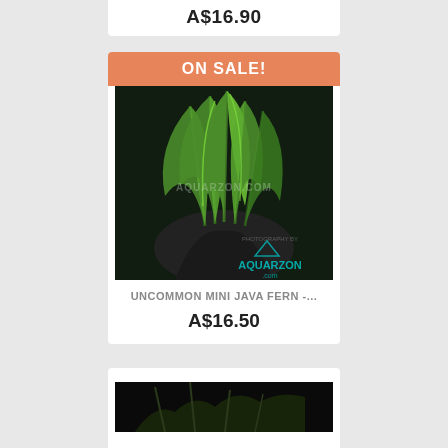A$16.90
ON SALE!
[Figure (photo): A hand wearing a black glove holding green aquatic plants (Java Fern) against a dark background. Watermark reads AQUARZON.COM with photography by AQUARZON branding.]
UNCOMMON MINI JAVA FERN -...
A$16.50
[Figure (photo): Partial view of another aquatic plant product photo against a dark/black background.]